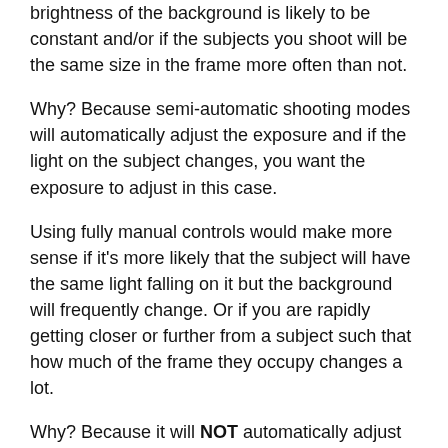brightness of the background is likely to be constant and/or if the subjects you shoot will be the same size in the frame more often than not.
Why? Because semi-automatic shooting modes will automatically adjust the exposure and if the light on the subject changes, you want the exposure to adjust in this case.
Using fully manual controls would make more sense if it's more likely that the subject will have the same light falling on it but the background will frequently change. Or if you are rapidly getting closer or further from a subject such that how much of the frame they occupy changes a lot.
Why? Because it will NOT automatically adjust the exposure and if the light on the subject doesn't change, you don't want the exposure to adjust. In comparison, semi-automatic shooting modes are